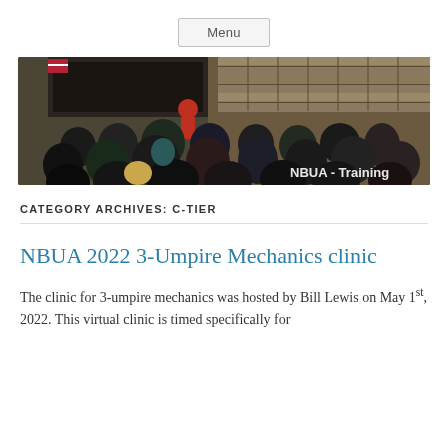Menu
[Figure (photo): A large group of people seated in a room attending a training session. A presenter in red stands at the front near a projector screen. Bookshelves are visible in the background. A watermark reads 'NBUA - Training' in the bottom-right corner.]
CATEGORY ARCHIVES: C-TIER
NBUA 2022 3-Umpire Mechanics clinic
The clinic for 3-umpire mechanics was hosted by Bill Lewis on May 1st, 2022. This virtual clinic is timed specifically for